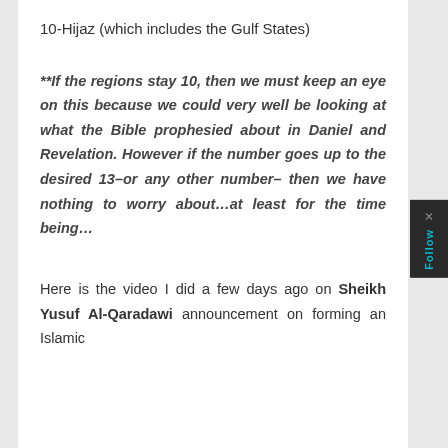10-Hijaz (which includes the Gulf States)
**If the regions stay 10, then we must keep an eye on this because we could very well be looking at what the Bible prophesied about in Daniel and Revelation. However if the number goes up to the desired 13–or any other number– then we have nothing to worry about…at least for the time being…
Here is the video I did a few days ago on Sheikh Yusuf Al-Qaradawi announcement on forming an Islamic